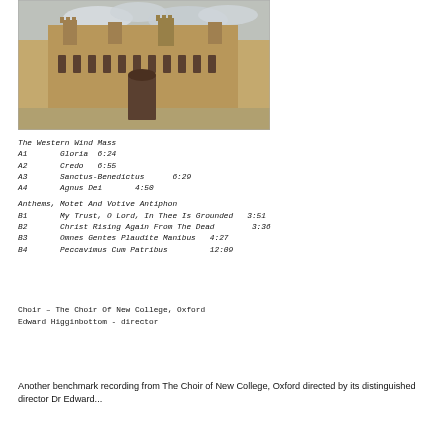[Figure (photo): Photograph of New College, Oxford courtyard with Gothic architecture]
The Western Wind Mass
A1       Gloria  6:24
A2       Credo   6:55
A3       Sanctus-Benedictus      6:29
A4       Agnus Dei      4:50
Anthems, Motet And Votive Antiphon
B1       My Trust, O Lord, In Thee Is Grounded   3:51
B2       Christ Rising Again From The Dead        3:36
B3       Omnes Gentes Plaudite Manibus   4:27
B4       Peccavimus Cum Patribus         12:09
Choir – The Choir Of New College, Oxford
Edward Higginbottom - director
Another benchmark recording from The Choir of New College, Oxford, directed by its distinguished director Dr Edward...